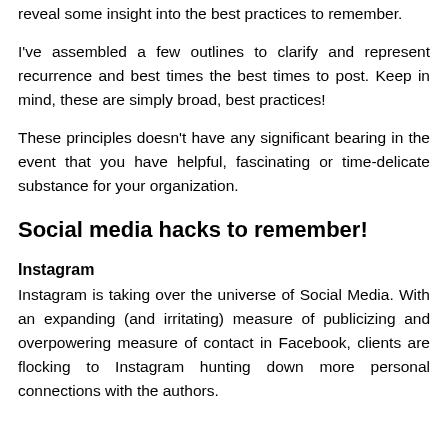reveal some insight into the best practices to remember.
I've assembled a few outlines to clarify and represent recurrence and best times the best times to post. Keep in mind, these are simply broad, best practices!
These principles doesn't have any significant bearing in the event that you have helpful, fascinating or time-delicate substance for your organization.
Social media hacks to remember!
Instagram
Instagram is taking over the universe of Social Media. With an expanding (and irritating) measure of publicizing and overpowering measure of contact in Facebook, clients are flocking to Instagram hunting down more personal connections with the authors.